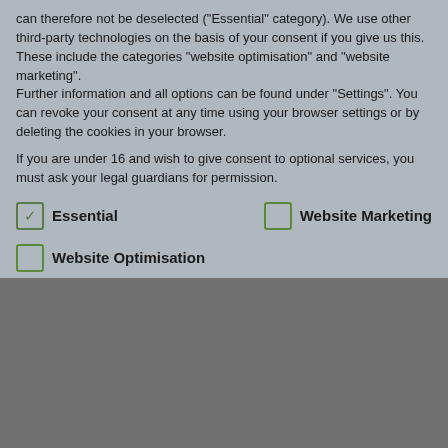can therefore not be deselected ("Essential" category). We use other third-party technologies on the basis of your consent if you give us this. These include the categories "website optimisation" and "website marketing". Further information and all options can be found under "Settings". You can revoke your consent at any time using your browser settings or by deleting the cookies in your browser.
If you are under 16 and wish to give consent to optional services, you must ask your legal guardians for permission.
Essential (checked)
Website Marketing (unchecked)
Website Optimisation (unchecked)